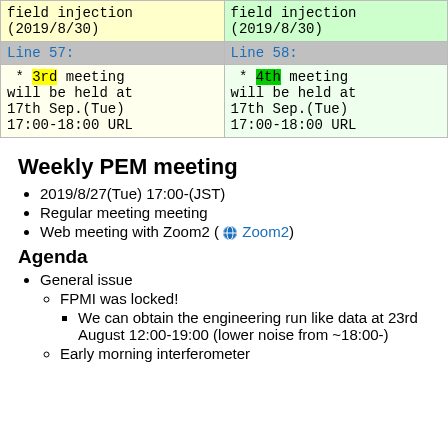| Line 57: | Line 58: |
| --- | --- |
| * 3rd meeting will be held at 17th Sep.(Tue) 17:00-18:00 URL | * 4th meeting will be held at 17th Sep.(Tue) 17:00-18:00 URL |
Weekly PEM meeting
2019/8/27(Tue) 17:00-(JST)
Regular meeting meeting
Web meeting with Zoom2 ( Zoom2)
Agenda
General issue
FPMI was locked!
We can obtain the engineering run like data at 23rd August 12:00-19:00 (lower noise from ~18:00-)
Early morning interferometer